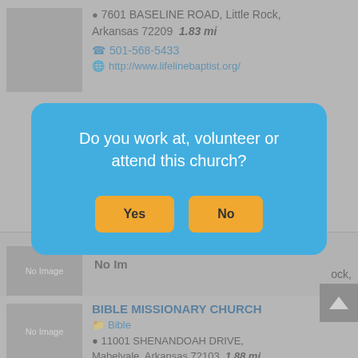7601 BASELINE ROAD, Little Rock, Arkansas 72209  1.83 mi
501-568-5433
http://www.lifelinebaptist.org/
Do you work at, volunteer or attend this church?
Yes
No
No Image
ock,
BIBLE MISSIONARY CHURCH
Bible
11001 SHENANDOAH DRIVE, Mabelvale, Arkansas 72103  1.88 mi